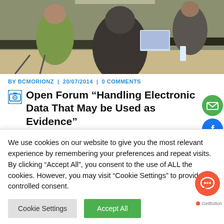[Figure (photo): People sitting in a meeting/conference room, viewed from behind, working at desks.]
BY BCMORIONZ | 20/07/2014 | 0 COMMENTS
Open Forum “Handling Electronic Data That May be Used as Evidence”
Read More →
We use cookies on our website to give you the most relevant experience by remembering your preferences and repeat visits. By clicking “Accept All”, you consent to the use of ALL the cookies. However, you may visit “Cookie Settings” to provide a controlled consent.